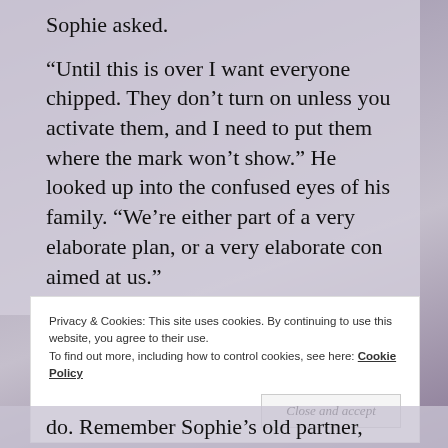Sophie asked.

“Until this is over I want everyone chipped. They don’t turn on unless you activate them, and I need to put them where the mark won’t show.” He looked up into the confused eyes of his family. “We’re either part of a very elaborate plan, or a very elaborate con aimed at us.”
Privacy & Cookies: This site uses cookies. By continuing to use this website, you agree to their use.
To find out more, including how to control cookies, see here: Cookie Policy

Close and accept
do. Remember Sophie’s old partner,